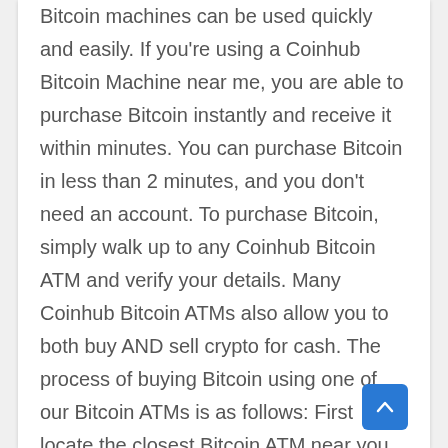Bitcoin machines can be used quickly and easily. If you're using a Coinhub Bitcoin Machine near me, you are able to purchase Bitcoin instantly and receive it within minutes. You can purchase Bitcoin in less than 2 minutes, and you don't need an account. To purchase Bitcoin, simply walk up to any Coinhub Bitcoin ATM and verify your details. Many Coinhub Bitcoin ATMs also allow you to both buy AND sell crypto for cash. The process of buying Bitcoin using one of our Bitcoin ATMs is as follows: First locate the closest Bitcoin ATM near you in your city by visiting our Coinhub Bitcoin ATM Locator. Walk up to the machine and enter your phone number. You will then verify your phone with a code and scan your bitcoin wallet. Enter bills one bill at a time for the amount you would like to purchase and confirm the bitcoin atm prior to purchase. The bitcoin is instantly sent to your wallet. The daily buying limit is $25,000. We have Bitcoin